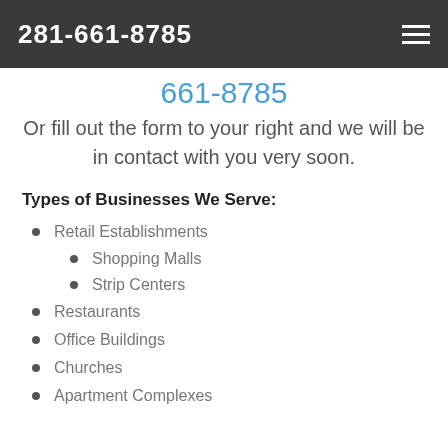281-661-8785
661-8785
Or fill out the form to your right and we will be in contact with you very soon.
Types of Businesses We Serve:
Retail Establishments
Shopping Malls
Strip Centers
Restaurants
Office Buildings
Churches
Apartment Complexes